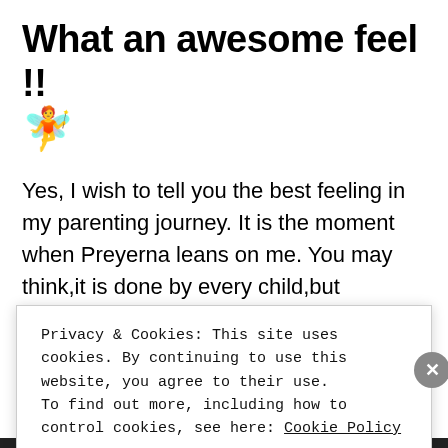What an awesome feel !!
[Figure (illustration): Fairy/dancer emoji illustration in red dress with yellow hair]
Yes, I wish to tell you the best feeling in my parenting journey. It is the moment when Preyerna leans on me. You may think,it is done by every child,but Preyerna
Privacy & Cookies: This site uses cookies. By continuing to use this website, you agree to their use.
To find out more, including how to control cookies, see here: Cookie Policy
Close and accept